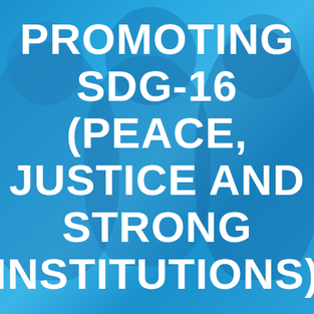[Figure (photo): Blue-tinted background photo of people (faces partially visible), overlaid with large white bold uppercase text about SDG-16]
PROMOTING SDG-16 (PEACE, JUSTICE AND STRONG INSTITUTIONS)